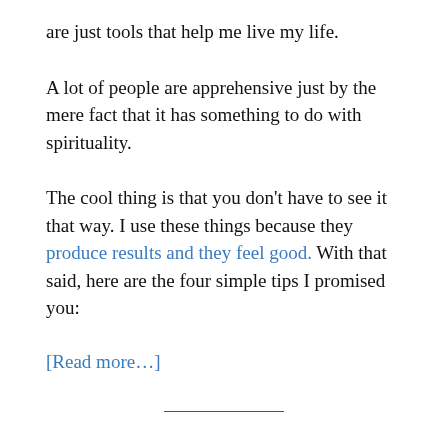are just tools that help me live my life.
A lot of people are apprehensive just by the mere fact that it has something to do with spirituality.
The cool thing is that you don't have to see it that way. I use these things because they produce results and they feel good. With that said, here are the four simple tips I promised you:
[Read more…]